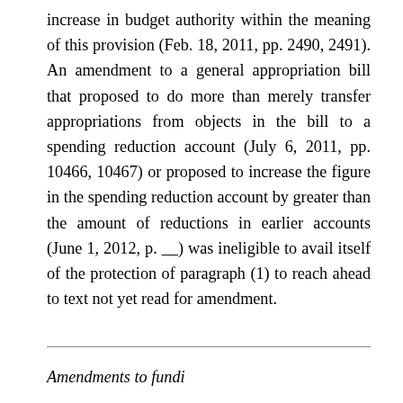increase in budget authority within the meaning of this provision (Feb. 18, 2011, pp. 2490, 2491). An amendment to a general appropriation bill that proposed to do more than merely transfer appropriations from objects in the bill to a spending reduction account (July 6, 2011, pp. 10466, 10467) or proposed to increase the figure in the spending reduction account by greater than the amount of reductions in earlier accounts (June 1, 2012, p. __) was ineligible to avail itself of the protection of paragraph (1) to reach ahead to text not yet read for amendment.
Amendments to fundi...